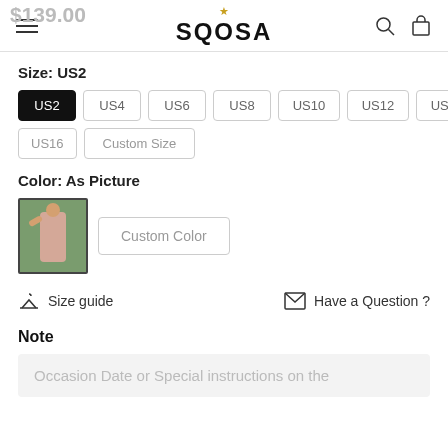SQOSA
$139.00
Size: US2
US2 US4 US6 US8 US10 US12 US14 US16 Custom Size
Color: As Picture
[Figure (photo): Thumbnail of a person wearing a light pink/nude dress, selected color option]
Custom Color
Size guide
Have a Question ?
Note
Occasion Date or Special instructions on the